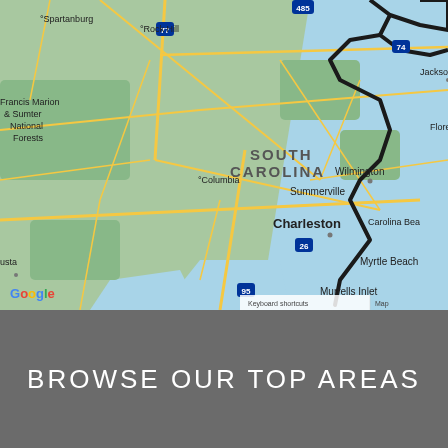[Figure (map): Google Maps view showing the southeastern United States coast, including South Carolina, North Carolina coastal areas (Wilmington, Carolina Beach, Myrtle Beach, Murrells Inlet), Charleston, Summerville, Columbia, Francis Marion & Sumter National Forests, Spartanburg, Rock Hill, Florence, Augusta, and Jacksonville. A thick black border outlines a region near Wilmington/North Carolina coast. Roads shown in yellow on green terrain with blue ocean/water on the right. Google logo visible in bottom-left. 'Keyboard shortcuts' and 'Map' labels in bottom-right.]
BROWSE OUR TOP AREAS